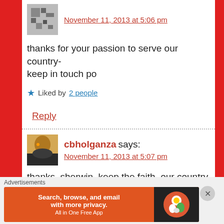November 11, 2013 at 5:06 pm
thanks for your passion to serve our country- keep in touch po
★ Liked by 2 people
Reply
cbholganza says:
November 11, 2013 at 5:07 pm
thanks, sherwin. keep the faith. our country
Advertisements
Search, browse, and email with more privacy. All in One Free App